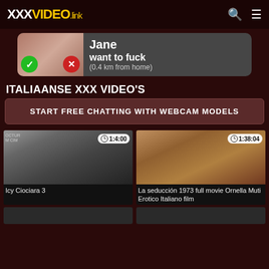XXXVIDEO.link
[Figure (screenshot): Adult dating advertisement banner showing 'Jane want to fuck (0.4 km from home)' with accept/decline buttons]
ITALIAANSE XXX VIDEO'S
START FREE CHATTING WITH WEBCAM MODELS
[Figure (screenshot): Video thumbnail - Icy Ciociara 3, duration 1:4:00]
Icy Ciociara 3
[Figure (screenshot): Video thumbnail - La seducción 1973 full movie Ornella Muti Erotico Italiano film, duration 1:38:04]
La seducción 1973 full movie Ornella Muti Erotico Italiano film